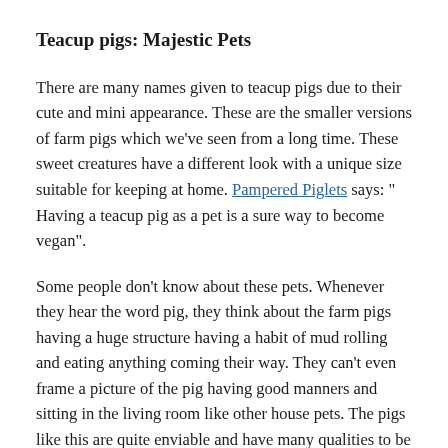Teacup pigs: Majestic Pets
There are many names given to teacup pigs due to their cute and mini appearance. These are the smaller versions of farm pigs which we’ve seen from a long time. These sweet creatures have a different look with a unique size suitable for keeping at home. Pampered Piglets says: “ Having a teacup pig as a pet is a sure way to become vegan”.
Some people don’t know about these pets. Whenever they hear the word pig, they think about the farm pigs having a huge structure having a habit of mud rolling and eating anything coming their way. They can’t even frame a picture of the pig having good manners and sitting in the living room like other house pets. The pigs like this are quite enviable and have many qualities to be kept as a pet in the house. You will fall in love with them by spending a few hours daily.